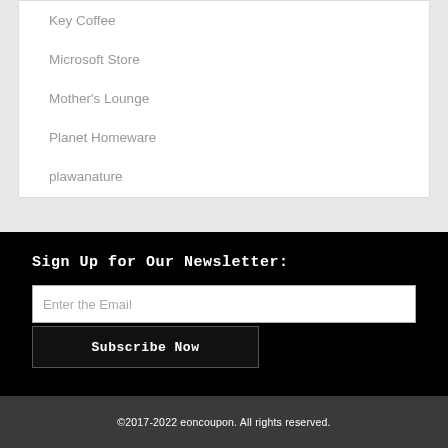Key Coffee
Microsoft Store
Mother's Lounge
Planet Homeware
plawanature
Sign Up for Our Newsletter:
Enter the Email
Subscribe Now
©2017-2022 eoncoupon. All rights reserved.